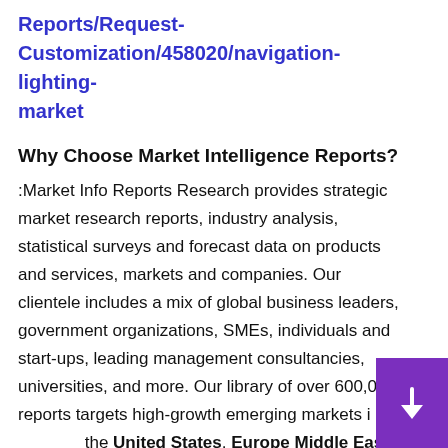Reports/Request-Customization/458020/navigation-lighting-market
Why Choose Market Intelligence Reports?
:Market Info Reports Research provides strategic market research reports, industry analysis, statistical surveys and forecast data on products and services, markets and companies. Our clientele includes a mix of global business leaders, government organizations, SMEs, individuals and start-ups, leading management consultancies, universities, and more. Our library of over 600,000 reports targets high-growth emerging markets in the United States, Europe Middle East, Africa, Asia-Pacific covering sectors like Computers,